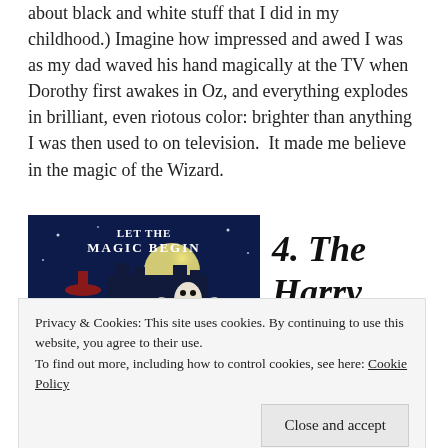about black and white stuff that I did in my childhood.) Imagine how impressed and awed I was as my dad waved his hand magically at the TV when Dorothy first awakes in Oz, and everything explodes in brilliant, even riotous color: brighter than anything I was then used to on television.  It made me believe in the magic of the Wizard.
[Figure (photo): Movie poster or image for 'Let the Magic Begin' showing a wizard figure with an owl flying against a moonlit castle background]
4. The Harry
Privacy & Cookies: This site uses cookies. By continuing to use this website, you agree to their use.
To find out more, including how to control cookies, see here: Cookie Policy
Close and accept
[Figure (photo): Bottom portion of another movie image, partially cut off, showing 'Sorcerer's Stone' text]
movies are at